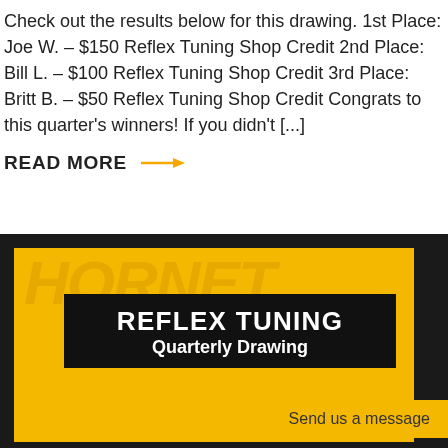Check out the results below for this drawing. 1st Place: Joe W. – $150 Reflex Tuning Shop Credit 2nd Place: Bill L. – $100 Reflex Tuning Shop Credit 3rd Place: Britt B. –  $50 Reflex Tuning Shop Credit Congrats to this quarter's winners! If you didn't [...]
READ MORE →
[Figure (illustration): Reflex Tuning Quarterly Drawing promotional banner on yellow background with watermark text, black bordered banner with 'REFLEX TUNING Quarterly Drawing' text in white, and 'Send us a message' button overlay]